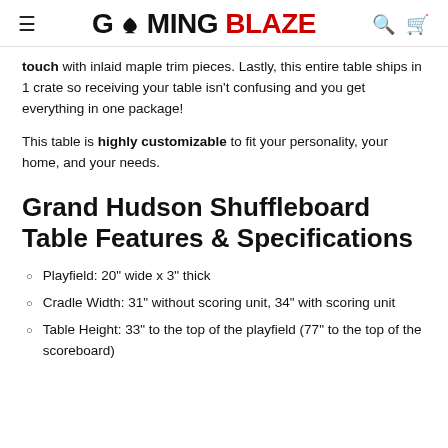GAMINGBLAZE
touch with inlaid maple trim pieces. Lastly, this entire table ships in 1 crate so receiving your table isn't confusing and you get everything in one package!
This table is highly customizable to fit your personality, your home, and your needs.
Grand Hudson Shuffleboard Table Features & Specifications
Playfield: 20" wide x 3" thick
Cradle Width: 31" without scoring unit, 34" with scoring unit
Table Height: 33" to the top of the playfield (77" to the top of the scoreboard)